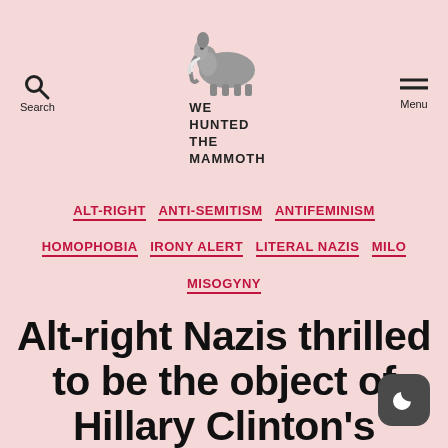Search | WE HUNTED THE MAMMOTH | Menu
ALT-RIGHT  ANTI-SEMITISM  ANTIFEMINISM  HOMOPHOBIA  IRONY ALERT  LITERAL NAZIS  MILO  MISOGYNY
Alt-right Nazis thrilled to be the object of Hillary Clinton's withering scorn
By David Futrelle  August 27, 2016  147 Comments